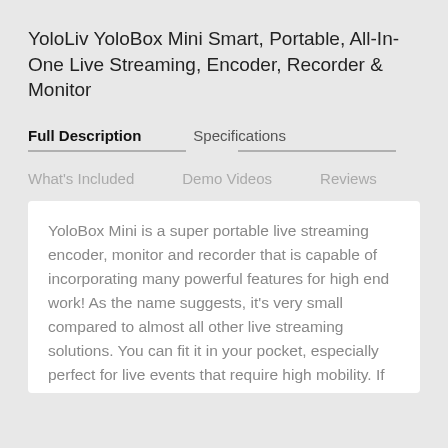YoloLiv YoloBox Mini Smart, Portable, All-In-One Live Streaming, Encoder, Recorder & Monitor
Full Description
Specifications
What's Included
Demo Videos
Reviews
YoloBox Mini is a super portable live streaming encoder, monitor and recorder that is capable of incorporating many powerful features for high end work! As the name suggests, it's very small compared to almost all other live streaming solutions. You can fit it in your pocket, especially perfect for live events that require high mobility. If you're looking for a mini but mighty live streaming solution for mobile live streaming needs, YoloBox